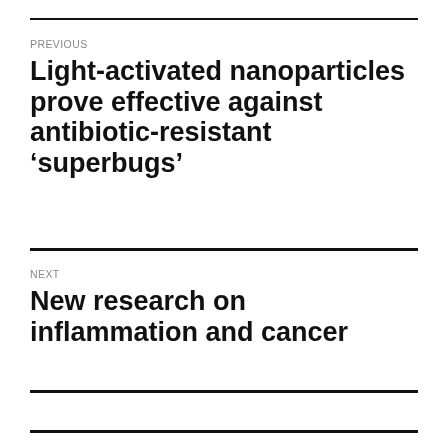PREVIOUS
Light-activated nanoparticles prove effective against antibiotic-resistant ‘superbugs’
NEXT
New research on inflammation and cancer